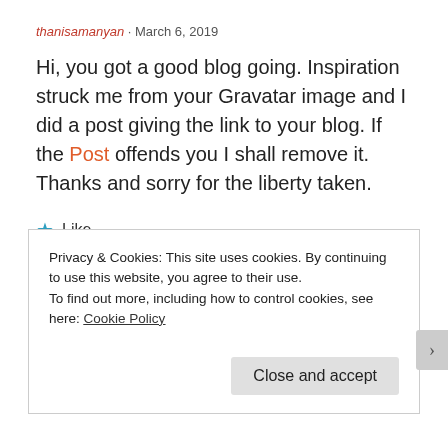thanisamanyan · March 6, 2019
Hi, you got a good blog going. Inspiration struck me from your Gravatar image and I did a post giving the link to your blog. If the Post offends you I shall remove it. Thanks and sorry for the liberty taken.
★ Like
Privacy & Cookies: This site uses cookies. By continuing to use this website, you agree to their use.
To find out more, including how to control cookies, see here: Cookie Policy
Close and accept